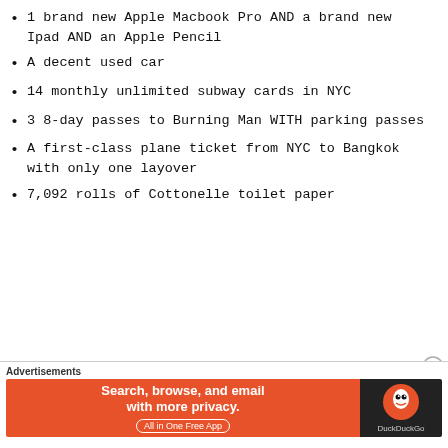1 brand new Apple Macbook Pro AND a brand new Ipad AND an Apple Pencil
A decent used car
14 monthly unlimited subway cards in NYC
3 8-day passes to Burning Man WITH parking passes
A first-class plane ticket from NYC to Bangkok with only one layover
7,092 rolls of Cottonelle toilet paper
Need I go on? I could, but I think I've made
[Figure (other): Advertisement banner for DuckDuckGo app: 'Search, browse, and email with more privacy. All in One Free App' with DuckDuckGo logo on dark background.]